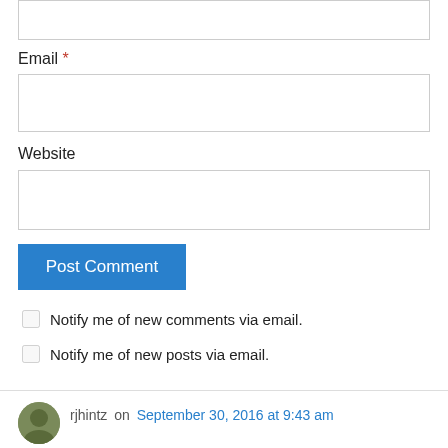Email *
Website
Post Comment
Notify me of new comments via email.
Notify me of new posts via email.
rjhintz on September 30, 2016 at 9:43 am